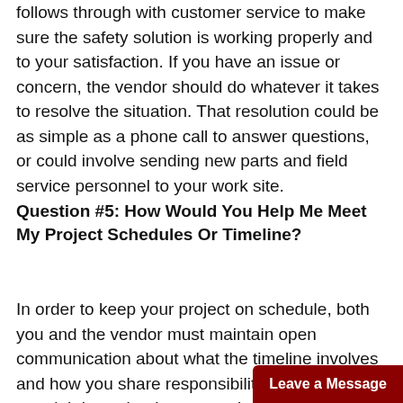follows through with customer service to make sure the safety solution is working properly and to your satisfaction. If you have an issue or concern, the vendor should do whatever it takes to resolve the situation. That resolution could be as simple as a phone call to answer questions, or could involve sending new parts and field service personnel to your work site.
Question #5: How Would You Help Me Meet My Project Schedules Or Timeline?
In order to keep your project on schedule, both you and the vendor must maintain open communication about what the timeline involves and how you share responsibilities. As the client, your job is to clearly communicate the project g...